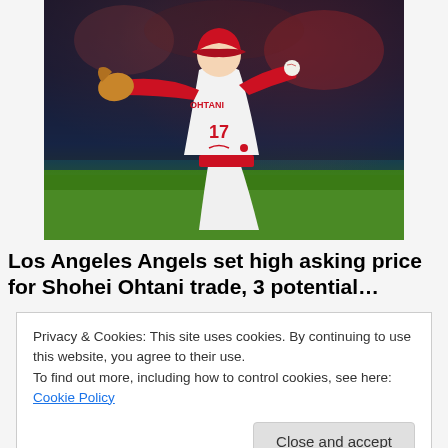[Figure (photo): Baseball player Shohei Ohtani in white Los Angeles Angels uniform with number 17 on back and red cap, in pitching stance with glove extended, photographed from behind. Green field visible at bottom, blurred crowd in background.]
Los Angeles Angels set high asking price for Shohei Ohtani trade, 3 potential…
Privacy & Cookies: This site uses cookies. By continuing to use this website, you agree to their use.
To find out more, including how to control cookies, see here: Cookie Policy
Close and accept